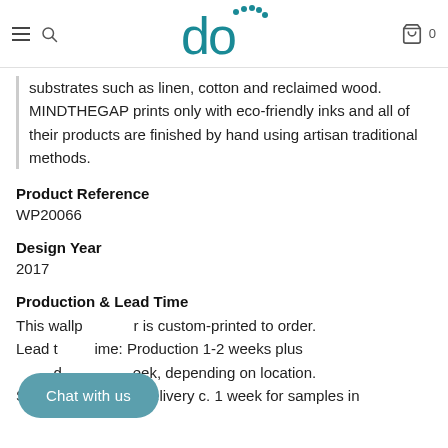do (logo)
substrates such as linen, cotton and reclaimed wood. MINDTHEGAP prints only with eco-friendly inks and all of their products are finished by hand using artisan traditional methods.
Product Reference
WP20066
Design Year
2017
Production & Lead Time
This wallpaper is custom-printed to order. Lead time: Production 1-2 weeks plus delivery 1 week, depending on location. Sample lead time: Delivery c. 1 week for samples in